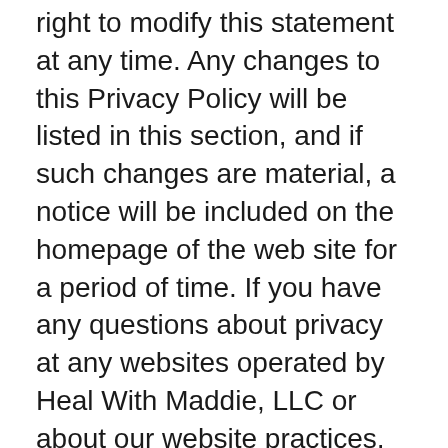right to modify this statement at any time. Any changes to this Privacy Policy will be listed in this section, and if such changes are material, a notice will be included on the homepage of the web site for a period of time. If you have any questions about privacy at any websites operated by Heal With Maddie, LLC or about our website practices, please contact us at: maddie@healwithmadeline.com
Data Protection Policy
Heal With Maddie, LLC is committed to providing a superior learning experience for everyone we work with. We know that our users are committed to their success